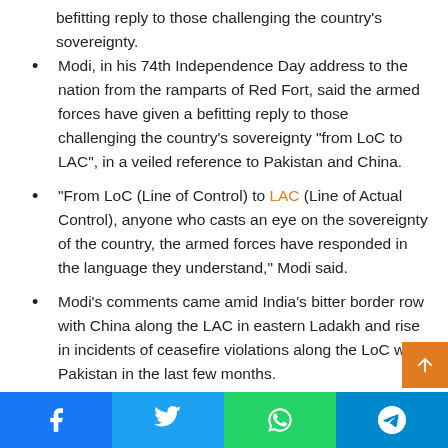befitting reply to those challenging the country's sovereignty.
Modi, in his 74th Independence Day address to the nation from the ramparts of Red Fort, said the armed forces have given a befitting reply to those challenging the country’s sovereignty “from LoC to LAC”, in a veiled reference to Pakistan and China.
“From LoC (Line of Control) to LAC (Line of Actual Control), anyone who casts an eye on the sovereignty of the country, the armed forces have responded in the language they understand,” Modi said.
Modi’s comments came amid India’s bitter border row with China along the LAC in eastern Ladakh and rise in incidents of ceasefire violations along the LoC with Pakistan in the last few months.